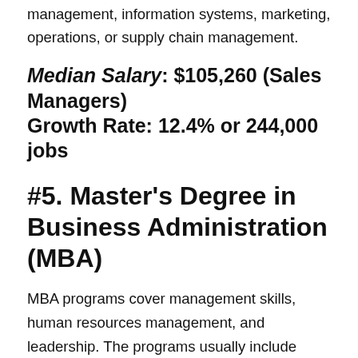management, information systems, marketing, operations, or supply chain management.
Median Salary: $105,260 (Sales Managers)
Growth Rate: 12.4% or 244,000 jobs
#5. Master's Degree in Business Administration (MBA)
MBA programs cover management skills, human resources management, and leadership. The programs usually include case studies. Typically online MBA programs take two years to complete, but some programs can be completed in just one year. Online programs